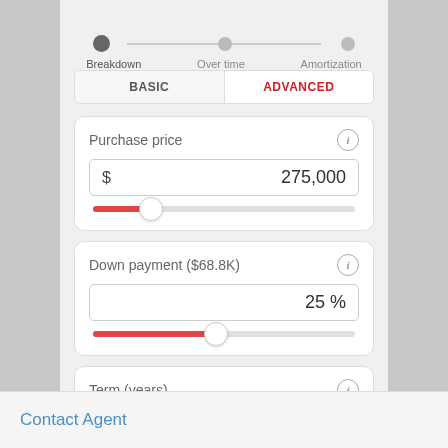[Figure (screenshot): Mortgage calculator UI navigation with three steps: Breakdown, Over time, Amortization shown with dots connected by a line]
BASIC | ADVANCED
Purchase price
$ 275,000
Down payment ($68.8K)
25 %
Term (years)
30
Contact Agent